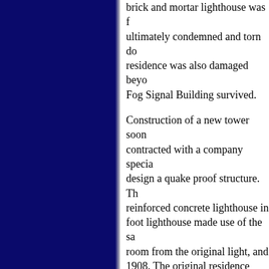brick and mortar lighthouse was ultimately condemned and torn down, residence was also damaged beyond repair. Fog Signal Building survived.
Construction of a new tower soon contracted with a company specializing to design a quake proof structure. The reinforced concrete lighthouse in foot lighthouse made use of the same watch room from the original light, and 1908. The original residence was
Through the years many changes Light Station. The Lighthouse Service Coast Guard took over the task of the Coast Guard automated the lighthouse beacon on the tower balcony, and Order Fresnel lens went dark. Automation public access as staff was reduced. The remained inaccessible for many years, enthusiasts approached officials with tours. In 1982 this group became known as the Point Arena Lighthouse Ke